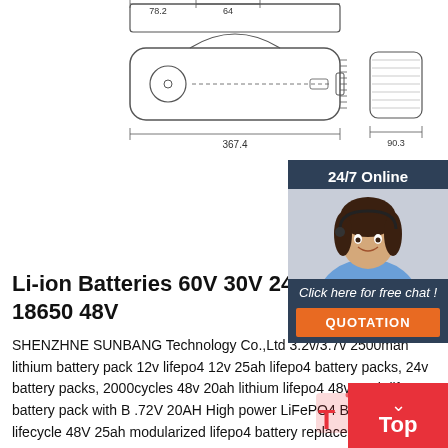[Figure (engineering-diagram): Technical drawing of a lithium battery pack showing top/side views with dimensions 78.2, 64, 367.4, and 90.3 mm]
[Figure (infographic): Live chat widget with '24/7 Online' label, photo of a customer service agent, 'Click here for free chat!' text, and orange QUOTATION button]
Li-ion Batteries 60V 30V 24v 15ah 20A 18650 48V
SHENZHNE SUNBANG Technology Co.,Ltd 3.2v/3.7v 2500mah lithium battery pack 12v lifepo4 12v 25ah lifepo4 battery packs, 24v battery packs, 2000cycles 48v 20ah lithium lifepo4 48v 30ah lifepo4 battery pack with B .72V 20AH High power LiFePO4 Battery M lifecycle 48V 25ah modularized lifepo4 battery replacement on SLA
[Figure (infographic): Red 'Top' back-to-top button with upward arrow in bottom right corner]